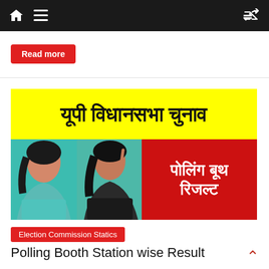Navigation bar with home, menu, and shuffle icons
Read more
[Figure (infographic): UP Vidhan Sabha Chunav (UP Legislative Assembly Election) infographic. Yellow banner with Hindi text 'यूपी विधानसभा चुनाव', photo of two young women raising inked fingers, red panel with Hindi text 'पोलिंग बूथ रिजल्ट' (Polling Booth Result)]
Election Commission Statics
Polling Booth Station wise Result